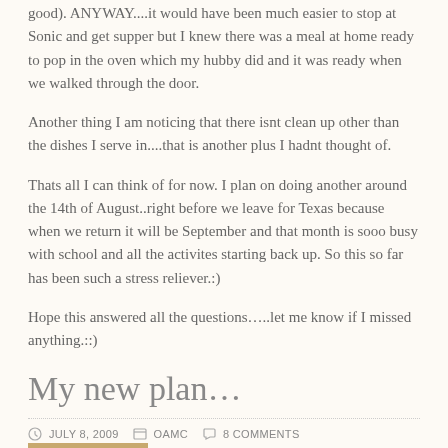good). ANYWAY....it would have been much easier to stop at Sonic and get supper but I knew there was a meal at home ready to pop in the oven which my hubby did and it was ready when we walked through the door.
Another thing I am noticing that there isnt clean up other than the dishes I serve in....that is another plus I hadnt thought of.
Thats all I can think of for now. I plan on doing another around the 14th of August..right before we leave for Texas because when we return it will be September and that month is sooo busy with school and all the activites starting back up. So this so far has been such a stress reliever.:)
Hope this answered all the questions…..let me know if I missed anything.::)
My new plan…
JULY 8, 2009   OAMC   8 COMMENTS